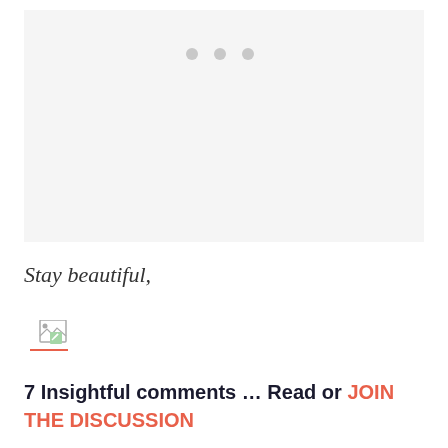[Figure (other): Light gray placeholder image box with three gray dots centered near the top]
Stay beautiful,
[Figure (photo): Small broken/unavailable image icon with a red underline below it, representing a signature image]
7 Insightful comments … Read or JOIN THE DISCUSSION